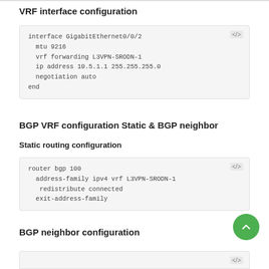VRF interface configuration
interface GigabitEthernet0/0/2
  mtu 9216
  vrf forwarding L3VPN-SRODN-1
  ip address 10.5.1.1 255.255.255.0
  negotiation auto
end
BGP VRF configuration Static & BGP neighbor
Static routing configuration
router bgp 100
  address-family ipv4 vrf L3VPN-SRODN-1
   redistribute connected
  exit-address-family
BGP neighbor configuration